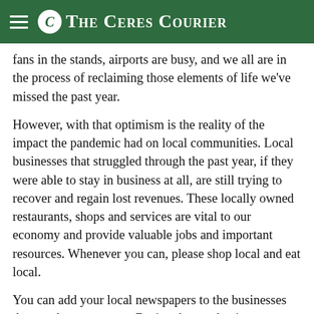The Ceres Courier
fans in the stands, airports are busy, and we all are in the process of reclaiming those elements of life we've missed the past year.
However, with that optimism is the reality of the impact the pandemic had on local communities. Local businesses that struggled through the past year, if they were able to stay in business at all, are still trying to recover and regain lost revenues. These locally owned restaurants, shops and services are vital to our economy and provide valuable jobs and important resources. Whenever you can, please shop local and eat local.
You can add your local newspapers to the businesses that need your support. During the pandemic, newspapers provided the critical information needed to protect the health and safety of their readers. And, that level of commitment has continued with the most relevant information about vaccines and plans for schools to return to normal in the fall.